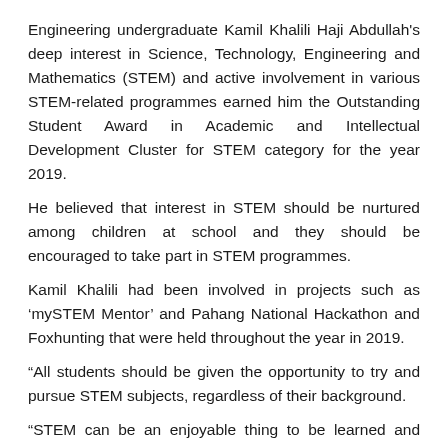Engineering undergraduate Kamil Khalili Haji Abdullah's deep interest in Science, Technology, Engineering and Mathematics (STEM) and active involvement in various STEM-related programmes earned him the Outstanding Student Award in Academic and Intellectual Development Cluster for STEM category for the year 2019.
He believed that interest in STEM should be nurtured among children at school and they should be encouraged to take part in STEM programmes.
Kamil Khalili had been involved in projects such as 'mySTEM Mentor' and Pahang National Hackathon and Foxhunting that were held throughout the year in 2019.
“All students should be given the opportunity to try and pursue STEM subjects, regardless of their background.
“STEM can be an enjoyable thing to be learned and applied. It can be a hobby or a career especially in preparing for the